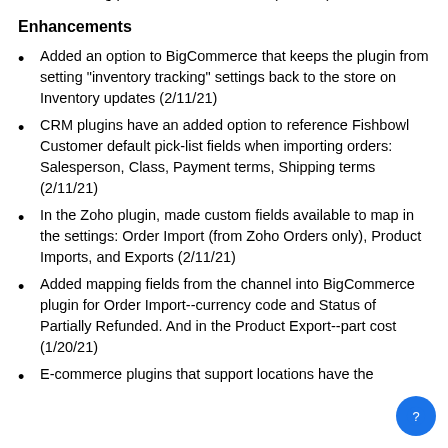Fixed an issue on Audit Trail with older databases referencing part dimensional values (2/11/21)
Enhancements
Added an option to BigCommerce that keeps the plugin from setting "inventory tracking" settings back to the store on Inventory updates (2/11/21)
CRM plugins have an added option to reference Fishbowl Customer default pick-list fields when importing orders: Salesperson, Class, Payment terms, Shipping terms (2/11/21)
In the Zoho plugin, made custom fields available to map in the settings: Order Import (from Zoho Orders only), Product Imports, and Exports (2/11/21)
Added mapping fields from the channel into BigCommerce plugin for Order Import--currency code and Status of Partially Refunded. And in the Product Export--part cost (1/20/21)
E-commerce plugins that support locations have the